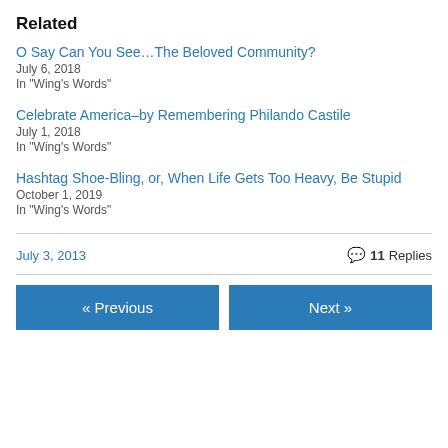Related
O Say Can You See…The Beloved Community?
July 6, 2018
In "Wing's Words"
Celebrate America–by Remembering Philando Castile
July 1, 2018
In "Wing's Words"
Hashtag Shoe-Bling, or, When Life Gets Too Heavy, Be Stupid
October 1, 2019
In "Wing's Words"
July 3, 2013   💬 11 Replies
« Previous   Next »